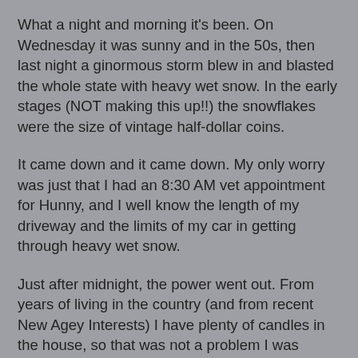What a night and morning it's been. On Wednesday it was sunny and in the 50s, then last night a ginormous storm blew in and blasted the whole state with heavy wet snow. In the early stages (NOT making this up!!) the snowflakes were the size of vintage half-dollar coins.
It came down and it came down. My only worry was just that I had an 8:30 AM vet appointment for Hunny, and I well know the length of my driveway and the limits of my car in getting through heavy wet snow.
Just after midnight, the power went out. From years of living in the country (and from recent New Agey Interests) I have plenty of candles in the house, so that was not a problem I was concerned about, either. Except that my phone and internet both go out when the power does. And as the night rolled on and on, I began to imagine not being able to get out of my house to make the appointment, and not even being able to call to cancel it!
But by 7:00 AM the power was back, and my plow guy had been here, too. It was still a bit of a struggle to get out at